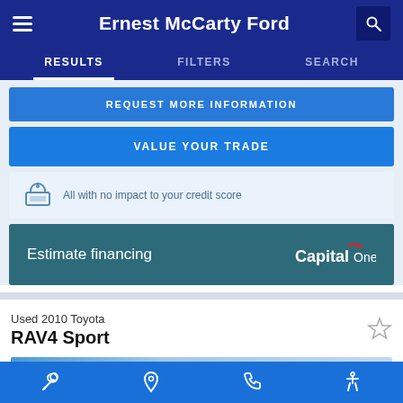Ernest McCarty Ford
RESULTS   FILTERS   SEARCH
REQUEST MORE INFORMATION
VALUE YOUR TRADE
All with no impact to your credit score
Estimate financing
Used 2010 Toyota RAV4 Sport
wrench icon, location icon, phone icon, accessibility icon